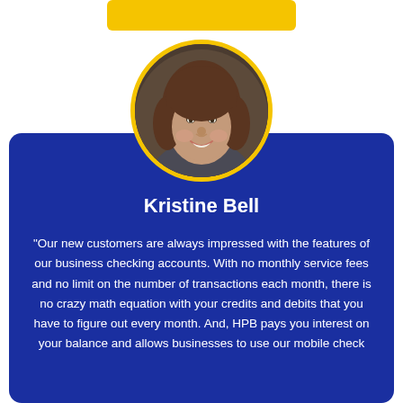[Figure (photo): A circular portrait photo of a woman with long brown hair, smiling, with a golden yellow circular border, positioned above a blue testimonial card.]
Kristine Bell
"Our new customers are always impressed with the features of our business checking accounts. With no monthly service fees and no limit on the number of transactions each month, there is no crazy math equation with your credits and debits that you have to figure out every month. And, HPB pays you interest on your balance and allows businesses to use our mobile check